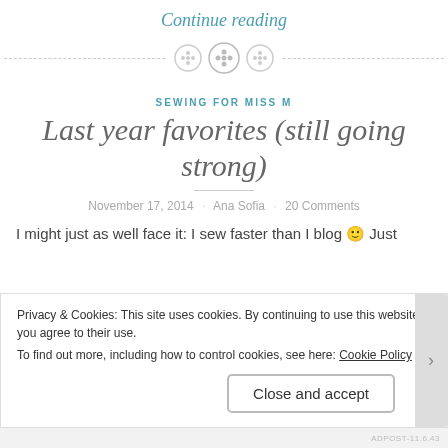Continue reading
[Figure (illustration): Decorative divider with three button icons and a dashed horizontal line]
SEWING FOR MISS M
Last year favorites (still going strong)
November 17, 2014 · Ana Sofia · 20 Comments
I might just as well face it: I sew faster than I blog 🙂 Just
Privacy & Cookies: This site uses cookies. By continuing to use this website, you agree to their use.
To find out more, including how to control cookies, see here: Cookie Policy
Close and accept